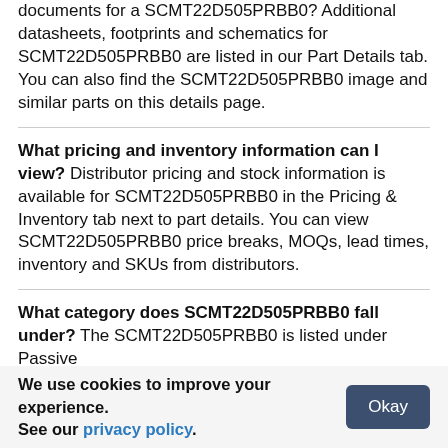documents for a SCMT22D505PRBB0? Additional datasheets, footprints and schematics for SCMT22D505PRBB0 are listed in our Part Details tab. You can also find the SCMT22D505PRBB0 image and similar parts on this details page.
What pricing and inventory information can I view? Distributor pricing and stock information is available for SCMT22D505PRBB0 in the Pricing & Inventory tab next to part details. You can view SCMT22D505PRBB0 price breaks, MOQs, lead times, inventory and SKUs from distributors.
What category does SCMT22D505PRBB0 fall under? The SCMT22D505PRBB0 is listed under Passive
We use cookies to improve your experience. See our privacy policy. Okay